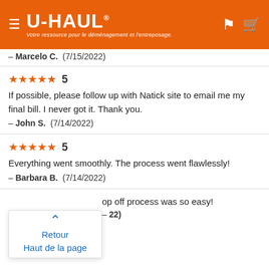U-HAUL — Votre ressource pour le déménagement et l'entreposage.
— Marcelo C.  (7/15/2022)
★★★★★ 5
If possible, please follow up with Natick site to email me my final bill. I never got it. Thank you.
— John S.  (7/14/2022)
★★★★★ 5
Everything went smoothly. The process went flawlessly!
— Barbara B.  (7/14/2022)
...op off process was so easy!
...22)
Retour
Haut de la page